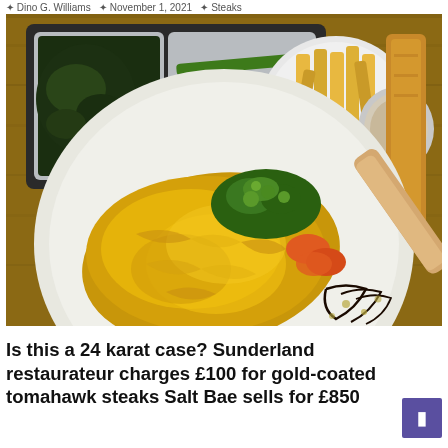Dino G. Williams  ✦  November 1, 2021  ✦  Steaks
[Figure (photo): A gold-leaf coated tomahawk steak served on a white speckled plate with garnish of greens, tomatoes, and balsamic drizzle. In the background are side dishes including wilted greens, green beans, french fries, a sauce, and a piece of toast on a wooden board.]
Is this a 24 karat case? Sunderland restaurateur charges £100 for gold-coated tomahawk steaks Salt Bae sells for £850